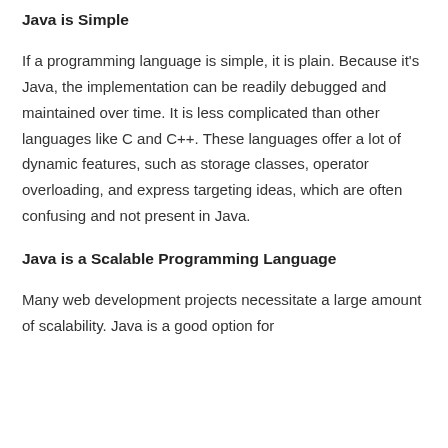Java is Simple
If a programming language is simple, it is plain. Because it's Java, the implementation can be readily debugged and maintained over time. It is less complicated than other languages like C and C++. These languages offer a lot of dynamic features, such as storage classes, operator overloading, and express targeting ideas, which are often confusing and not present in Java.
Java is a Scalable Programming Language
Many web development projects necessitate a large amount of scalability. Java is a good option for